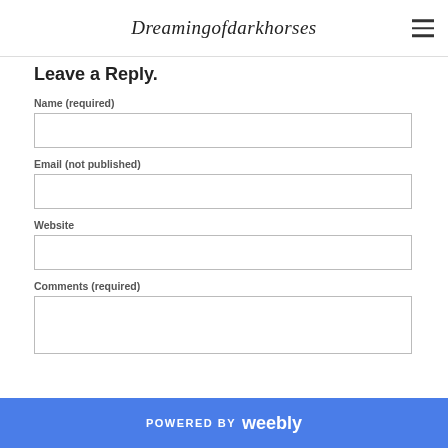Dreamingofdarkhorses
Leave a Reply.
Name (required)
Email (not published)
Website
Comments (required)
POWERED BY weebly